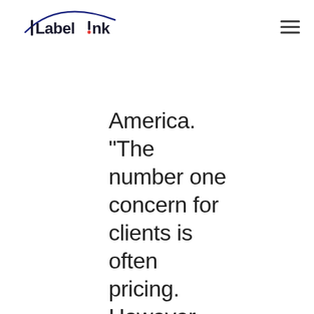Labelink — navigation header with logo and hamburger menu
America. “The number one concern for clients is often pricing. However, the wrong material can trigger significant